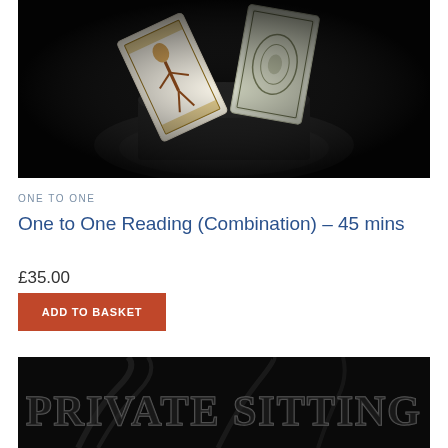[Figure (photo): Dark moody product photo showing tarot cards emerging from a black hat against a dark background]
ONE TO ONE
One to One Reading (Combination) – 45 mins
£35.00
ADD TO BASKET
[Figure (photo): Dark atmospheric image with smoke and decorative text reading PRIVATE SITTING]